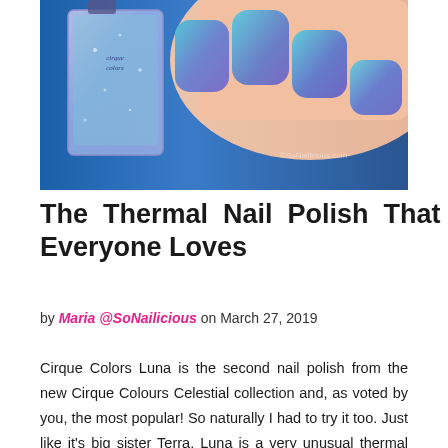[Figure (photo): Close-up photo of a hand holding a Cirque Colors nail polish bottle. The nails and the polish are a thermal color-shifting blue-to-purple shimmer. The bottle is square with a clear/lavender tint and the Cirque Colors label is visible.]
The Thermal Nail Polish That Everyone Loves
by Maria @SoNailicious on March 27, 2019
Cirque Colors Luna is the second nail polish from the new Cirque Colours Celestial collection and, as voted by you, the most popular! So naturally I had to try it too. Just like it's big sister Terra, Luna is a very unusual thermal nail polish. With addition of